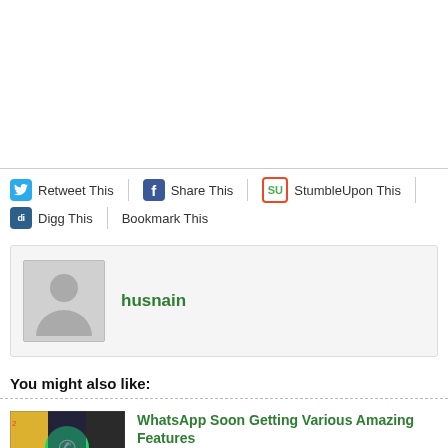[Figure (other): Empty white space area at top of page]
Retweet This
Share This
StumbleUpon This
Digg This
Bookmark This
husnain
You might also like:
WhatsApp Soon Getting Various Amazing Features
Sat. Jun 5th, 2021